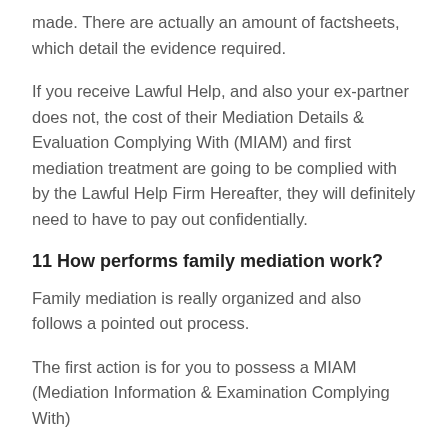made. There are actually an amount of factsheets, which detail the evidence required.
If you receive Lawful Help, and also your ex-partner does not, the cost of their Mediation Details & Evaluation Complying With (MIAM) and first mediation treatment are going to be complied with by the Lawful Help Firm Hereafter, they will definitely need to have to pay out confidentially.
11 How performs family mediation work?
Family mediation is really organized and also follows a pointed out process.
The first action is for you to possess a MIAM (Mediation Information & Examination Complying With)